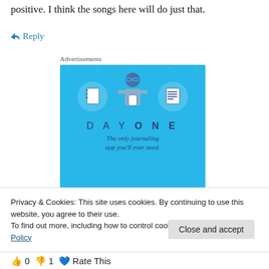positive. I think the songs here will do just that.
↪ Reply
Advertisements
[Figure (illustration): Day One journaling app advertisement banner with light blue background, showing a cartoon person holding a phone flanked by two circular icons of notebooks, with text 'DAY ONE' and tagline 'The only journaling app you'll ever need.']
Privacy & Cookies: This site uses cookies. By continuing to use this website, you agree to their use.
To find out more, including how to control cookies, see here: Cookie Policy
Close and accept
👍 0 👎 1 💙 Rate This